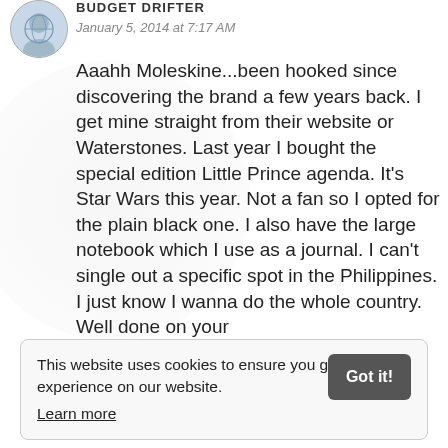BUDGET DRIFTER
January 5, 2014 at 7:17 AM
Aaahh Moleskine...been hooked since discovering the brand a few years back. I get mine straight from their website or Waterstones. Last year I bought the special edition Little Prince agenda. It's Star Wars this year. Not a fan so I opted for the plain black one. I also have the large notebook which I use as a journal. I can't single out a specific spot in the Philippines. I just know I wanna do the whole country. Well done on your
This website uses cookies to ensure you get the best experience on our website. Learn more